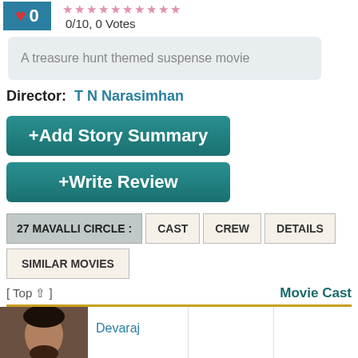0/10, 0 Votes
A treasure hunt themed suspense movie
Director:  T N Narasimhan
+Add Story Summary
+Write Review
27 MAVALLI CIRCLE :
CAST
CREW
DETAILS
SIMILAR MOVIES
[ Top ⇑ ]
Movie Cast
Devaraj
Kalpana Reddy